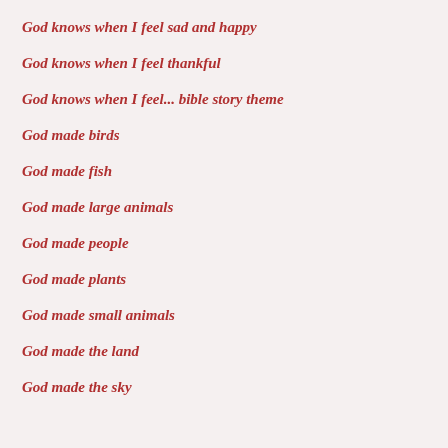God knows when I feel sad and happy
God knows when I feel thankful
God knows when I feel... bible story theme
God made birds
God made fish
God made large animals
God made people
God made plants
God made small animals
God made the land
God made the sky